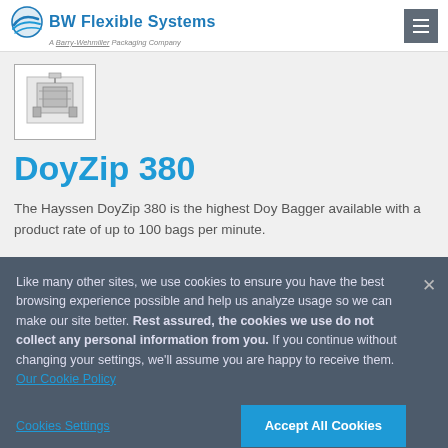BW Flexible Systems — A Barry-Wehmiller Packaging Company
[Figure (photo): Thumbnail photograph of the DoyZip 380 packaging machine]
DoyZip 380
The Hayssen DoyZip 380 is the highest Doy Bagger available with a product rate of up to 100 bags per minute.
Like many other sites, we use cookies to ensure you have the best browsing experience possible and help us analyze usage so we can make our site better. Rest assured, the cookies we use do not collect any personal information from you. If you continue without changing your settings, we'll assume you are happy to receive them. Our Cookie Policy
Cookies Settings | Accept All Cookies